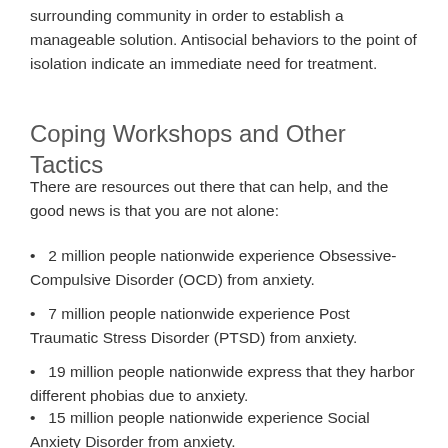surrounding community in order to establish a manageable solution. Antisocial behaviors to the point of isolation indicate an immediate need for treatment.
Coping Workshops and Other Tactics
There are resources out there that can help, and the good news is that you are not alone:
2 million people nationwide experience Obsessive-Compulsive Disorder (OCD) from anxiety.
7 million people nationwide experience Post Traumatic Stress Disorder (PTSD) from anxiety.
19 million people nationwide express that they harbor different phobias due to anxiety.
15 million people nationwide experience Social Anxiety Disorder from anxiety.
One such resources available to individuals experiencing